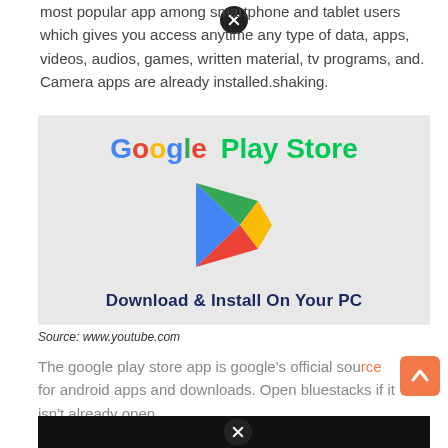most popular app among smartphone and tablet users which gives you access anytime any type of data, apps, videos, audios, games, written material, tv programs, and. Camera apps are already installed.shaking.
[Figure (illustration): Google Play Store promotional image with Google Play logo (colorful play triangle icon), text 'Google Play Store' and 'Download & Install On Your PC' on a gray background.]
Source: www.youtube.com
The google play store app is google's official source for android apps and downloads. Open bluestacks if it isn't already open.